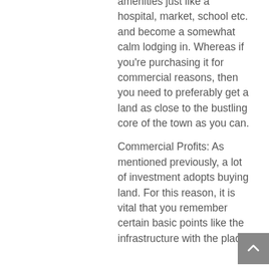amenities just like a hospital, market, school etc. and become a somewhat calm lodging in. Whereas if you're purchasing it for commercial reasons, then you need to preferably get a land as close to the bustling core of the town as you can.
Commercial Profits: As mentioned previously, a lot of investment adopts buying land. For this reason, it is vital that you remember certain basic points like the infrastructure with the place